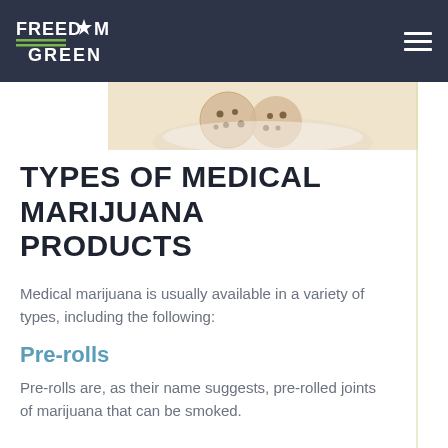FREEDOM GREEN
[Figure (photo): Partial view of cookies or baked goods on a plate with a beige/cream background]
TYPES OF MEDICAL MARIJUANA PRODUCTS
Medical marijuana is usually available in a variety of types, including the following:
Pre-rolls
Pre-rolls are, as their name suggests, pre-rolled joints of marijuana that can be smoked.